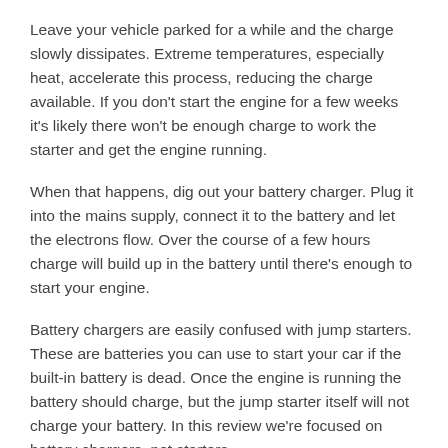Leave your vehicle parked for a while and the charge slowly dissipates. Extreme temperatures, especially heat, accelerate this process, reducing the charge available. If you don't start the engine for a few weeks it's likely there won't be enough charge to work the starter and get the engine running.
When that happens, dig out your battery charger. Plug it into the mains supply, connect it to the battery and let the electrons flow. Over the course of a few hours charge will build up in the battery until there's enough to start your engine.
Battery chargers are easily confused with jump starters. These are batteries you can use to start your car if the built-in battery is dead. Once the engine is running the battery should charge, but the jump starter itself will not charge your battery. In this review we're focused on battery chargers, not starters.
Battery types